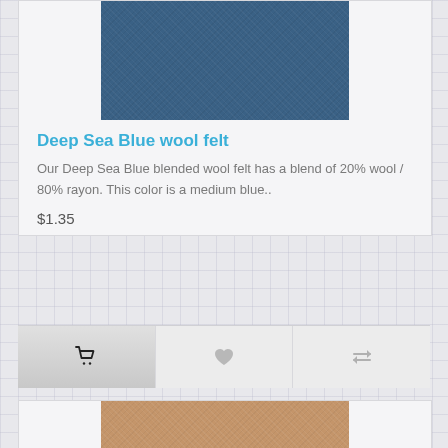[Figure (photo): Deep Sea Blue wool felt fabric texture swatch — dark steel blue color]
Deep Sea Blue wool felt
Our Deep Sea Blue blended wool felt has a blend of 20% wool / 80% rayon. This color is a medium blue..
$1.35
[Figure (photo): Tan/camel colored wool felt fabric texture swatch — beige-brown color]